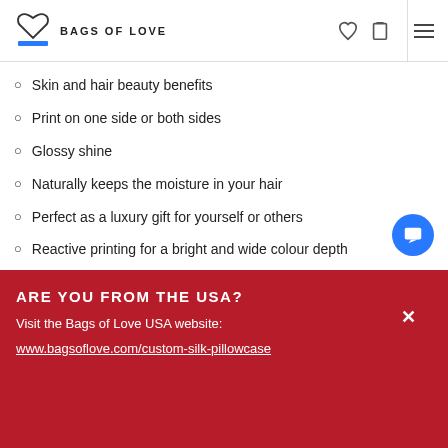BAGS OF LOVE
Skin and hair beauty benefits
Print on one side or both sides
Glossy shine
Naturally keeps the moisture in your hair
Perfect as a luxury gift for yourself or others
Reactive printing for a bright and wide colour depth
74 cm x 48 cm
ARE YOU FROM THE USA?
Visit the Bags of Love USA website:
www.bagsoflove.com/custom-silk-pillowcase